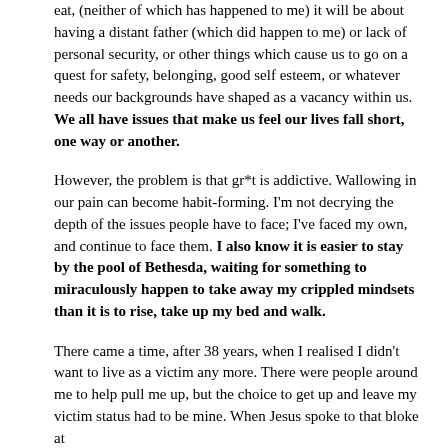eat, (neither of which has happened to me) it will be about having a distant father (which did happen to me) or lack of personal security, or other things which cause us to go on a quest for safety, belonging, good self esteem, or whatever needs our backgrounds have shaped as a vacancy within us. We all have issues that make us feel our lives fall short, one way or another.
However, the problem is that gr*t is addictive. Wallowing in our pain can become habit-forming. I'm not decrying the depth of the issues people have to face; I've faced my own, and continue to face them. I also know it is easier to stay by the pool of Bethesda, waiting for something to miraculously happen to take away my crippled mindsets than it is to rise, take up my bed and walk.
There came a time, after 38 years, when I realised I didn't want to live as a victim any more. There were people around me to help pull me up, but the choice to get up and leave my victim status had to be mine. When Jesus spoke to that bloke at